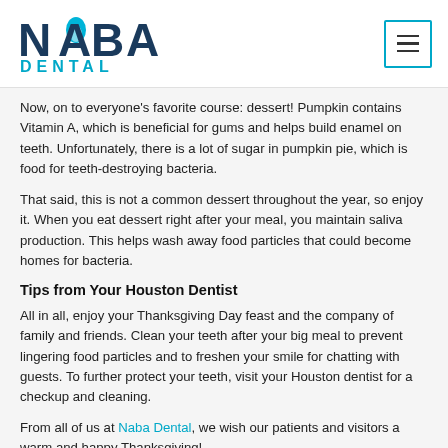[Figure (logo): NABA DENTAL logo with teal tooth icon and dark navy text]
Now, on to everyone's favorite course: dessert! Pumpkin contains Vitamin A, which is beneficial for gums and helps build enamel on teeth. Unfortunately, there is a lot of sugar in pumpkin pie, which is food for teeth-destroying bacteria.
That said, this is not a common dessert throughout the year, so enjoy it. When you eat dessert right after your meal, you maintain saliva production. This helps wash away food particles that could become homes for bacteria.
Tips from Your Houston Dentist
All in all, enjoy your Thanksgiving Day feast and the company of family and friends. Clean your teeth after your big meal to prevent lingering food particles and to freshen your smile for chatting with guests. To further protect your teeth, visit your Houston dentist for a checkup and cleaning.
From all of us at Naba Dental, we wish our patients and visitors a warm and happy Thanksgiving!